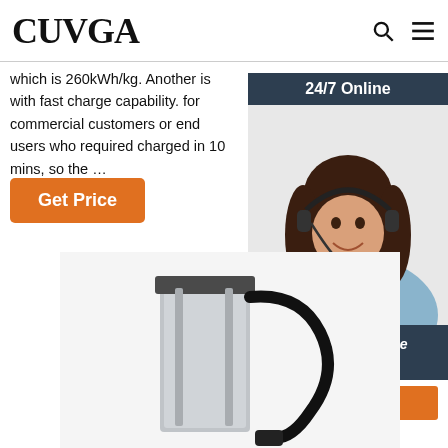CUVGA
which is 260kWh/kg. Another is with fast charge capability. for commercial customers or end users who required charged in 10 mins, so the …
Get Price
[Figure (photo): Customer service representative widget with '24/7 Online' header, photo of woman with headset, 'Click here for free chat!' text, and QUOTATION button]
[Figure (photo): Product photo of a silver rectangular battery charger device with black cable attached]